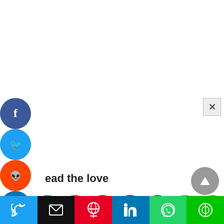[Figure (infographic): Floating left-side social share icons: Facebook (dark blue), Twitter (light blue), Reddit (orange), LinkedIn (blue), Pinterest (red), MeWe (teal), Mix (orange). Close X button top right. Horizontal inline share icon row with Twitter, Reddit, LinkedIn, Pinterest, MeWe, Mix, WhatsApp circles. Bottom share bar with Twitter, Email, Pinterest, LinkedIn, WhatsApp, Line buttons. Gray scroll-up arrow circle bottom right.]
ead the love
If you want to know about Zayn Malik real phone number and also looking for Zayn Malik email and mail address then, you are at the correct place! We are going to give you the contact information of Zayn Malik like his phone number, email address, and Fanmail address details.